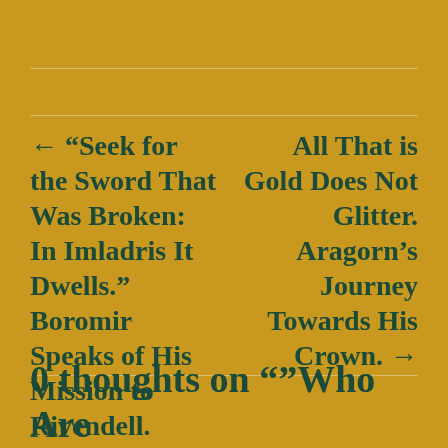← “Seek for the Sword That Was Broken: In Imladris It Dwells.” Boromir Speaks of His Mission to Rivendell.
All That is Gold Does Not Glitter. Aragorn’s Journey Towards His Crown. →
0 thoughts on “”Who Are